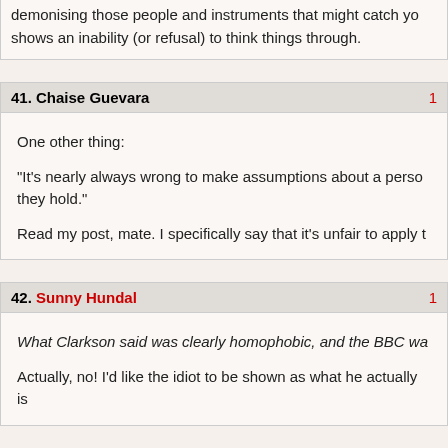demonising those people and instruments that might catch you shows an inability (or refusal) to think things through.
41. Chaise Guevara
One other thing:

“It’s nearly always wrong to make assumptions about a person they hold.”

Read my post, mate. I specifically say that it’s unfair to apply t
42. Sunny Hundal
What Clarkson said was clearly homophobic, and the BBC wa

Actually, no! I’d like the idiot to be shown as what he actually is